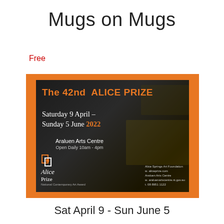Mugs on Mugs
Free
[Figure (illustration): Promotional poster for The 42nd Alice Prize exhibition at Araluen Arts Centre. Orange border surrounding a dark textured poster with orange and white text. Shows dates Saturday 9 April – Sunday 5 June 2022, venue Araluen Arts Centre, Open Daily 10am - 4pm, with Alice Prize logo and contact details for Alice Springs Art Foundation.]
Sat April 9 - Sun June 5